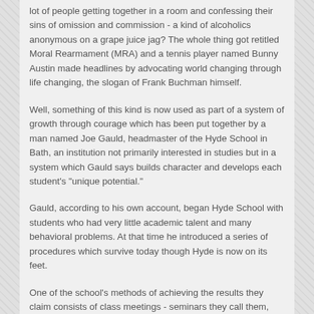lot of people getting together in a room and confessing their sins of omission and commission - a kind of alcoholics anonymous on a grape juice jag? The whole thing got retitled Moral Rearmament (MRA) and a tennis player named Bunny Austin made headlines by advocating world changing through life changing, the slogan of Frank Buchman himself.
Well, something of this kind is now used as part of a system of growth through courage which has been put together by a man named Joe Gauld, headmaster of the Hyde School in Bath, an institution not primarily interested in studies but in a system which Gauld says builds character and develops each student's "unique potential."
Gauld, according to his own account, began Hyde School with students who had very little academic talent and many behavioral problems. At that time he introduced a series of procedures which survive today though Hyde is now on its feet.
One of the school's methods of achieving the results they claim consists of class meetings - seminars they call them, though there is nothing remotely academic about the assemblies - at which students and adults alike describe and discuss their